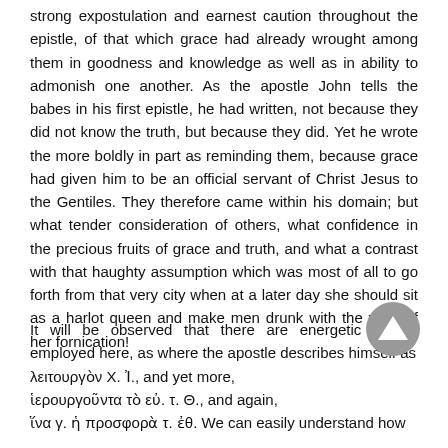strong expostulation and earnest caution throughout the epistle, of that which grace had already wrought among them in goodness and knowledge as well as in ability to admonish one another. As the apostle John tells the babes in his first epistle, he had written, not because they did not know the truth, but because they did. Yet he wrote the more boldly in part as reminding them, because grace had given him to be an official servant of Christ Jesus to the Gentiles. They therefore came within his domain; but what tender consideration of others, what confidence in the precious fruits of grace and truth, and what a contrast with that haughty assumption which was most of all to go forth from that very city when at a later day she should sit as a harlot queen and make men drunk with the wine of her fornication!
It will be observed that there are energetic figures employed here, as where the apostle describes himself as λειτουργὸν Χ. Ἰ., and yet more, ἱερουργοῦντα τὸ εὐ. τ. Θ., and again, ἵνα γ. ἡ προσφορὰ τ. ἐθ. We can easily understand how